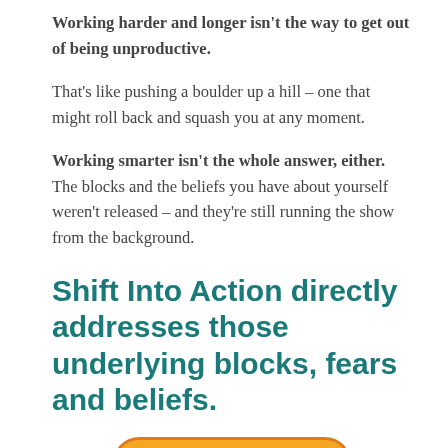Working harder and longer isn't the way to get out of being unproductive.
That's like pushing a boulder up a hill – one that might roll back and squash you at any moment.
Working smarter isn't the whole answer, either. The blocks and the beliefs you have about yourself weren't released – and they're still running the show from the background.
Shift Into Action directly addresses those underlying blocks, fears and beliefs.
Register Now